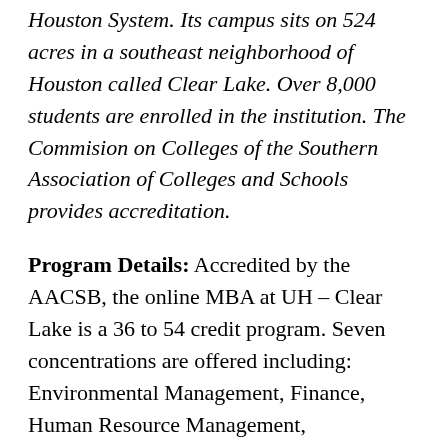Houston System. Its campus sits on 524 acres in a southeast neighborhood of Houston called Clear Lake. Over 8,000 students are enrolled in the institution. The Commision on Colleges of the Southern Association of Colleges and Schools provides accreditation.
Program Details: Accredited by the AACSB, the online MBA at UH – Clear Lake is a 36 to 54 credit program. Seven concentrations are offered including: Environmental Management, Finance, Human Resource Management, International Business, Leadership, Management Information Systems, and Management of Technology. The most updated tuition information provided by UH – Clear Lake is for the 2010 – 2011 school year. For the convenience of...